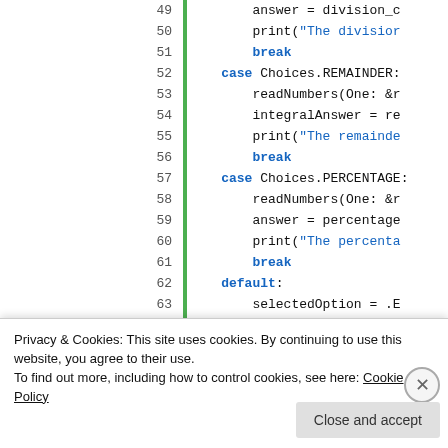[Figure (screenshot): Code editor screenshot showing Swift/C++ code lines 49-65 with a green vertical bar indicator. Code shows case statements for Choices.REMAINDER and Choices.PERCENTAGE with break and default keywords highlighted in blue.]
Privacy & Cookies: This site uses cookies. By continuing to use this website, you agree to their use.
To find out more, including how to control cookies, see here: Cookie Policy